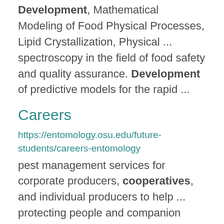Development, Mathematical Modeling of Food Physical Processes, Lipid Crystallization, Physical ... spectroscopy in the field of food safety and quality assurance. Development of predictive models for the rapid ...
Careers
https://entomology.osu.edu/future-students/careers-entomology
pest management services for corporate producers, cooperatives, and individual producers to help ... protecting people and companion animals. Entomologists in these positions are often charged with